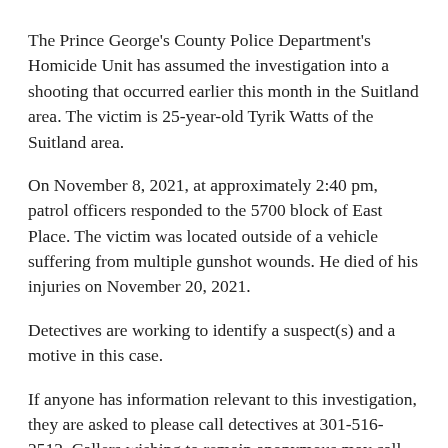The Prince George's County Police Department's Homicide Unit has assumed the investigation into a shooting that occurred earlier this month in the Suitland area. The victim is 25-year-old Tyrik Watts of the Suitland area.
On November 8, 2021, at approximately 2:40 pm, patrol officers responded to the 5700 block of East Place. The victim was located outside of a vehicle suffering from multiple gunshot wounds. He died of his injuries on November 20, 2021.
Detectives are working to identify a suspect(s) and a motive in this case.
If anyone has information relevant to this investigation, they are asked to please call detectives at 301-516-2512. Callers wishing to remain anonymous may call Crime Solvers at 1-866-411-TIPS (8477), or go online